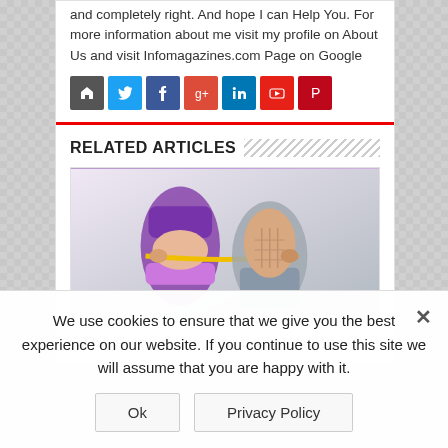and completely right. And hope I can Help You. For more information about me visit my profile on About Us and visit Infomagazines.com Page on Google
[Figure (other): Row of social media icon buttons: home, Twitter, Facebook, Google+, LinkedIn, YouTube, Pinterest]
RELATED ARTICLES
[Figure (photo): Fitness photo showing torso of man and woman in athletic wear with a yellow measuring tape around their waists]
The Fastest Ways to Lose Weight
We use cookies to ensure that we give you the best experience on our website. If you continue to use this site we will assume that you are happy with it.
Ok   Privacy Policy